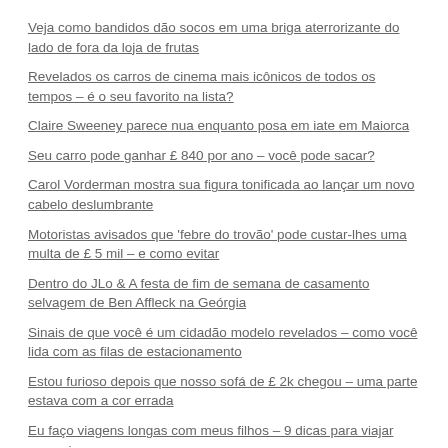Veja como bandidos dão socos em uma briga aterrorizante do lado de fora da loja de frutas
Revelados os carros de cinema mais icônicos de todos os tempos – é o seu favorito na lista?
Claire Sweeney parece nua enquanto posa em iate em Maiorca
Seu carro pode ganhar £ 840 por ano – você pode sacar?
Carol Vorderman mostra sua figura tonificada ao lançar um novo cabelo deslumbrante
Motoristas avisados que 'febre do trovão' pode custar-lhes uma multa de £ 5 mil – e como evitar
Dentro do JLo & A festa de fim de semana de casamento selvagem de Ben Affleck na Geórgia
Sinais de que você é um cidadão modelo revelados – como você lida com as filas de estacionamento
Estou furioso depois que nosso sofá de £ 2k chegou – uma parte estava com a cor errada
Eu faço viagens longas com meus filhos – 9 dicas para viajar com crianças
Pais revelam jogo genial de caixa de lanches que mantém as crianças